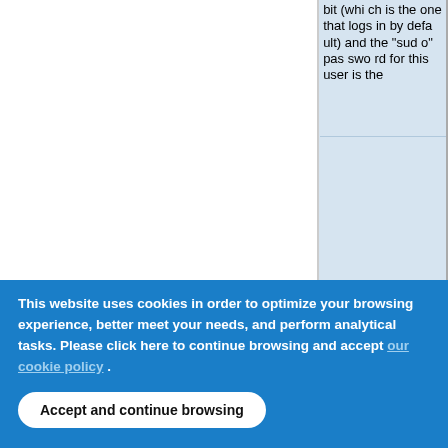bit (which is the one that logs in by default) and the "sudo" password for this user is the
This website uses cookies in order to optimize your browsing experience, better meet your needs, and perform analytical tasks. Please click here to continue browsing and accept our cookie policy .
Accept and continue browsing